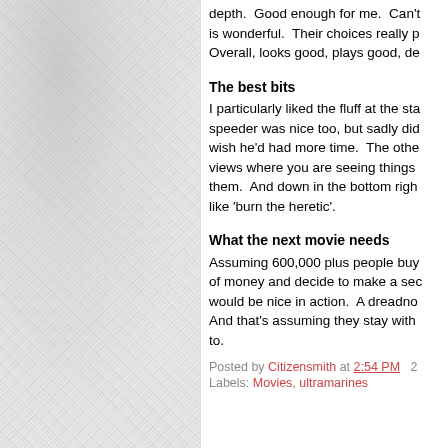depth.  Good enough for me.  Can't is wonderful.  Their choices really p Overall, looks good, plays good, de
The best bits
I particularly liked the fluff at the sta speeder was nice too, but sadly did wish he'd had more time.  The othe views where you are seeing things them.  And down in the bottom righ like 'burn the heretic'.
What the next movie needs
Assuming 600,000 plus people buy of money and decide to make a sec would be nice in action.  A dreadno And that's assuming they stay with to.
Posted by Citizensmith at 2:54 PM  2
Labels: Movies, ultramarines